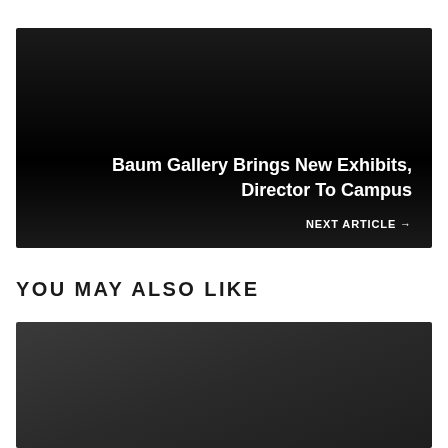[Figure (other): Dark background promotional banner for next article with title text and navigation link]
Baum Gallery Brings New Exhibits, Director To Campus
NEXT ARTICLE →
YOU MAY ALSO LIKE
[Figure (photo): Dark gray image placeholder for a related article thumbnail]